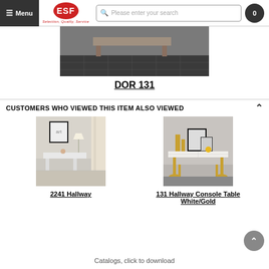Menu | ESF Selection, Quality, Service | Please enter your search | 0
[Figure (photo): Partial product photo of DOR 131 showing dark floor tiles and furniture base]
DOR 131
CUSTOMERS WHO VIEWED THIS ITEM ALSO VIEWED
[Figure (photo): 2241 Hallway white console table in room setting with lamp and artwork]
2241 Hallway
[Figure (photo): 131 Hallway Console Table White/Gold with gold legs and framed artwork]
131 Hallway Console Table White/Gold
Catalogs, click to download